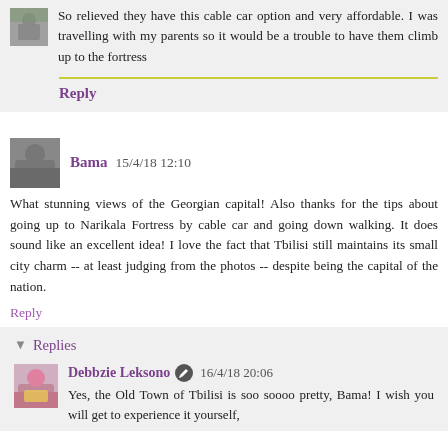So relieved they have this cable car option and very affordable. I was travelling with my parents so it would be a trouble to have them climb up to the fortress
Reply
Bama  15/4/18 12:10
What stunning views of the Georgian capital! Also thanks for the tips about going up to Narikala Fortress by cable car and going down walking. It does sound like an excellent idea! I love the fact that Tbilisi still maintains its small city charm -- at least judging from the photos -- despite being the capital of the nation.
Reply
Replies
Debbzie Leksono  16/4/18 20:06
Yes, the Old Town of Tbilisi is soo soooo pretty, Bama! I wish you will get to experience it yourself,